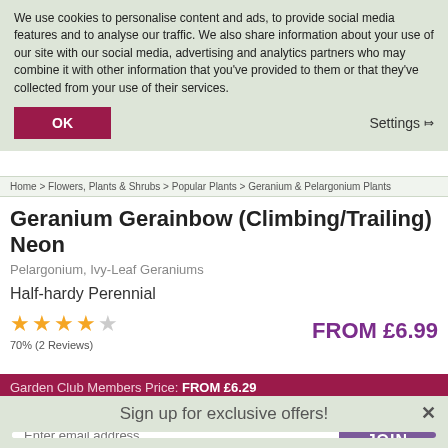We use cookies to personalise content and ads, to provide social media features and to analyse our traffic. We also share information about your use of our site with our social media, advertising and analytics partners who may combine it with other information that you've provided to them or that they've collected from your use of their services.
OK
Settings ∨
Home > Flowers, Plants & Shrubs > Popular Plants > Geranium & Pelargonium Plants
Geranium Gerainbow (Climbing/Trailing) Neon
Pelargonium, Ivy-Leaf Geraniums
Half-hardy Perennial
★★★★☆ 70% (2 Reviews)
FROM £6.99
Garden Club Members Price: FROM £6.29
Sign up for exclusive offers!
Enter email address
JOIN